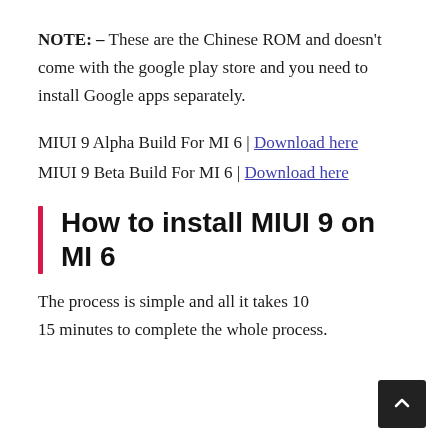NOTE: – These are the Chinese ROM and doesn't come with the google play store and you need to install Google apps separately.
MIUI 9 Alpha Build For MI 6 | Download here
MIUI 9 Beta Build For MI 6 | Download here
How to install MIUI 9 on MI 6
The process is simple and all it takes 10 15 minutes to complete the whole process.